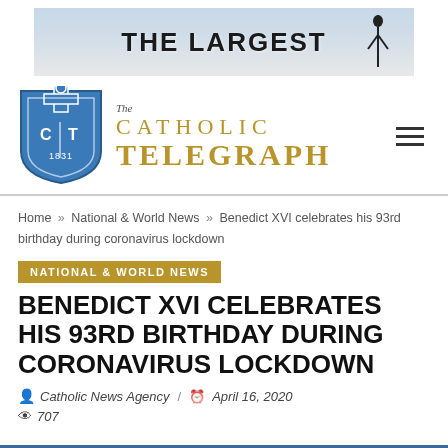[Figure (illustration): Advertisement banner reading THE LARGEST with a mountain/figure silhouette background]
[Figure (logo): The Catholic Telegraph logo: blue shield with CT 1831, alongside gold text reading 'The CATHOLIC TELEGRAPH']
Home » National & World News » Benedict XVI celebrates his 93rd birthday during coronavirus lockdown
NATIONAL & WORLD NEWS
BENEDICT XVI CELEBRATES HIS 93RD BIRTHDAY DURING CORONAVIRUS LOCKDOWN
Catholic News Agency / April 16, 2020
707